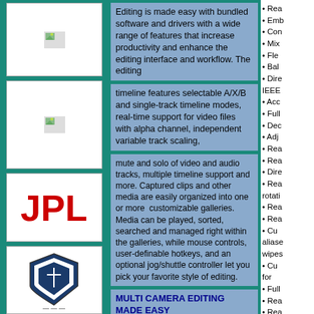[Figure (photo): Image placeholder box 1 (broken image icon, teal background)]
[Figure (photo): Image placeholder box 2 (broken image icon, teal background)]
[Figure (logo): JPL logo in red text on white background]
[Figure (logo): Shield/crest logo on white background, partially visible]
Editing is made easy with bundled software and drivers with a wide range of features that increase productivity and enhance the editing interface and workflow. The editing
timeline features selectable A/X/B and single-track timeline modes, real-time support for video files with alpha channel, independent variable track scaling,
mute and solo of video and audio tracks, multiple timeline support and more. Captured clips and other media are easily organized into one or more customizable galleries. Media can be played, sorted, searched and managed right within the galleries, while mouse controls, user-definable hotkeys, and an optional jog/shuttle controller let you pick your favorite style of editing.
MULTI CAMERA EDITING MADE EASY
• Rea
• Emb
• Con
• Mix
• Fle
• Bal
• Dire
IEEE
• Acc
• Full
• Dec
• Adj
• Rea
• Rea
• Dire
• Rea
rotati
• Rea
• Rea
• Cu
aliase wipes
• Cu
for
• Full
• Rea
• Rea
• Inte